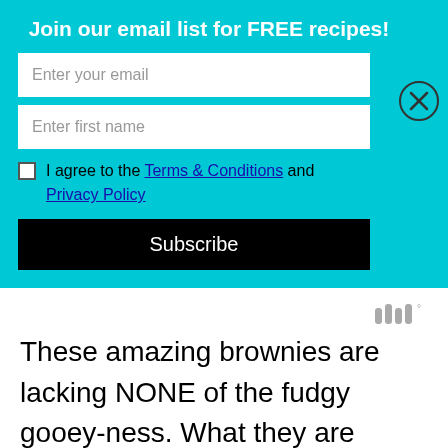Join our email list for FREE recipes!
[Figure (screenshot): Email subscription form with two input fields (Enter your email, Enter first name), a checkbox for Terms & Conditions and Privacy Policy agreement, and a Subscribe button. A close (X) button appears at the top right. Background is cyan/teal.]
[Figure (logo): Small gray Mediavine logo/icon in upper right of white section]
These amazing brownies are lacking NONE of the fudgy gooey-ness. What they are lacking is the unhealthy saturated fats found in traditional brownies. Thanks to the dates